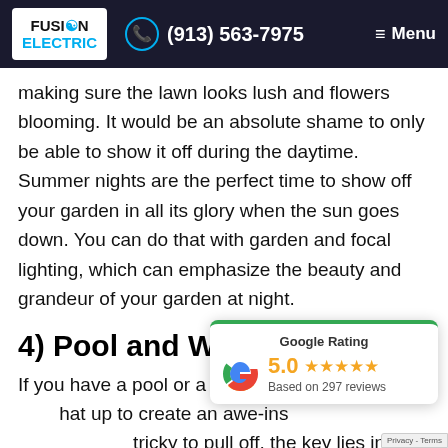Fusion Electric | (913) 563-7975 | Menu
making sure the lawn looks lush and flowers blooming. It would be an absolute shame to only be able to show it off during the daytime. Summer nights are the perfect time to show off your garden in all its glory when the sun goes down. You can do that with garden and focal lighting, which can emphasize the beauty and grandeur of your garden at night.
4) Pool and Water Lighting
If you have a pool or a w... hat up to create an awe-ins... tricky to pull off, the key lies in utilizing fixtures
[Figure (other): Google Rating widget showing 5.0 stars based on 297 reviews, with green top border and Google G logo]